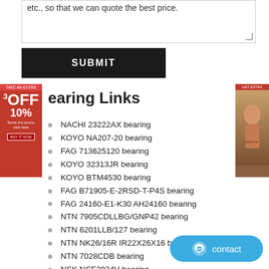etc., so that we can quote the best price.
SUBMIT
Bearing Links
NACHI 23222AX bearing
KOYO NA207-20 bearing
FAG 713625120 bearing
KOYO 32313JR bearing
KOYO BTM4530 bearing
FAG B71905-E-2RSD-T-P4S bearing
FAG 24160-E1-K30 AH24160 bearing
NTN 7905CDLLBG/GNP42 bearing
NTN 6201LLB/127 bearing
NTN NK26/16R IR22X26X16 bearing
NTN 7028CDB bearing
NSK NCF2924V bearing
NTN 4T-29590/29520 bearing
TIMKEN X32217/Y32217 bearing
SKF 7008CE/P4AL bearing